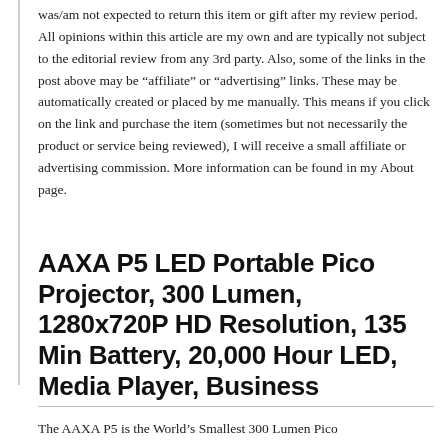was/am not expected to return this item or gift after my review period. All opinions within this article are my own and are typically not subject to the editorial review from any 3rd party. Also, some of the links in the post above may be “affiliate” or “advertising” links. These may be automatically created or placed by me manually. This means if you click on the link and purchase the item (sometimes but not necessarily the product or service being reviewed), I will receive a small affiliate or advertising commission. More information can be found in my About page.
AAXA P5 LED Portable Pico Projector, 300 Lumen, 1280x720P HD Resolution, 135 Min Battery, 20,000 Hour LED, Media Player, Business
The AAXA P5 is the World’s Smallest 300 Lumen Pico